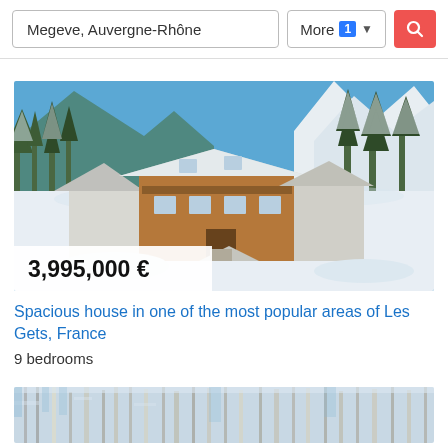Megeve, Auvergne-Rhône | More 1 ▾ | [search button]
[Figure (photo): Winter chalet / alpine house with snow-covered pine trees and mountains in background]
3,995,000 €
Spacious house in one of the most popular areas of Les Gets, France
9 bedrooms
[Figure (photo): Partial view of another property listing — snowy forest scene]